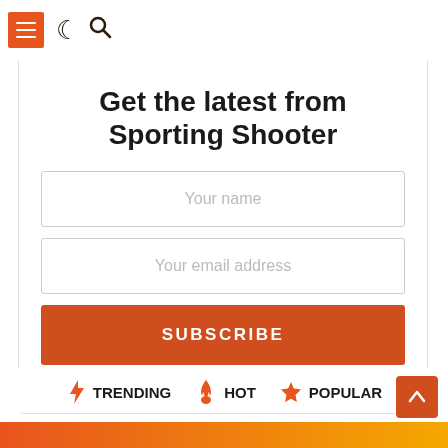Get the latest from Sporting Shooter
Your name
Your email address
SUBSCRIBE
Don't worry, we don't spam
TRENDING
HOT
POPULAR